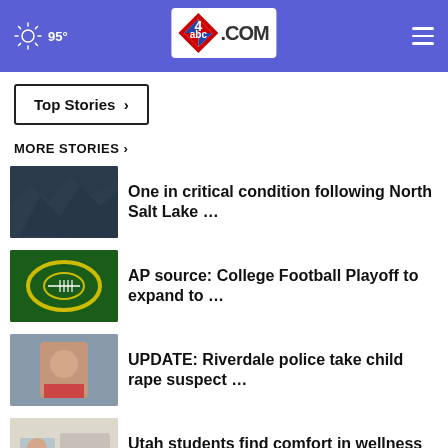95° abc4.com
Top Stories ›
MORE STORIES ›
One in critical condition following North Salt Lake …
AP source: College Football Playoff to expand to …
UPDATE: Riverdale police take child rape suspect …
Utah students find comfort in wellness centers to …
What is Utah's favorite …